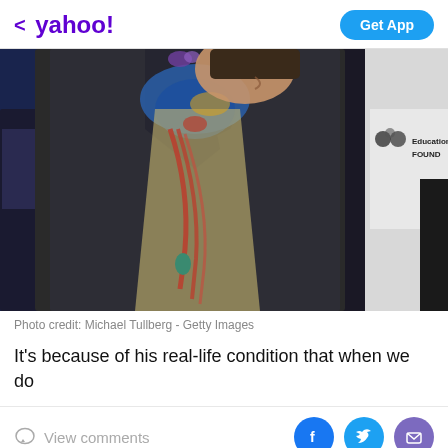< yahoo!   Get App
[Figure (photo): A man wearing a dark navy blazer, colorful scarf, and layered beaded necklaces at an event. A partial sign reading 'Educational FOUND' is visible on the right side.]
Photo credit: Michael Tullberg - Getty Images
It's because of his real-life condition that when we do
View comments